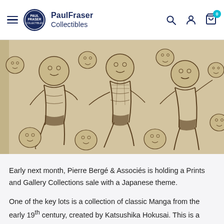PaulFraser Collectibles
[Figure (illustration): Japanese-style ink illustration showing multiple small figures (sumo wrestlers or demons) in dynamic poses, with round head/face elements scattered around them, on a warm beige background.]
Early next month, Pierre Bergé & Associés is holding a Prints and Gallery Collections sale with a Japanese theme.
One of the key lots is a collection of classic Manga from the early 19th century, created by Katsushika Hokusai. This is a